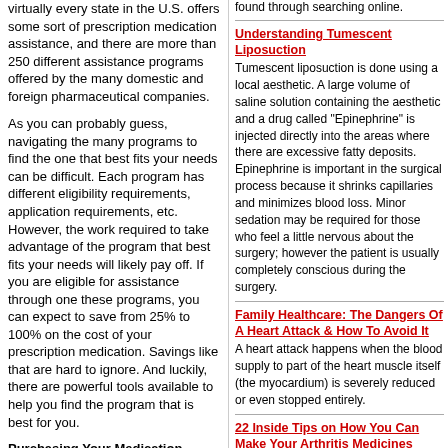virtually every state in the U.S. offers some sort of prescription medication assistance, and there are more than 250 different assistance programs offered by the many domestic and foreign pharmaceutical companies.
As you can probably guess, navigating the many programs to find the one that best fits your needs can be difficult. Each program has different eligibility requirements, application requirements, etc. However, the work required to take advantage of the program that best fits your needs will likely pay off. If you are eligible for assistance through one these programs, you can expect to save from 25% to 100% on the cost of your prescription medication. Savings like that are hard to ignore. And luckily, there are powerful tools available to help you find the program that is best for you.
Purchasing Your Medication
found through searching online.
Understanding Tumescent Liposuction
Tumescent liposuction is done using a local aesthetic. A large volume of saline solution containing the aesthetic and a drug called "Epinephrine" is injected directly into the areas where there are excessive fatty deposits. Epinephrine is important in the surgical process because it shrinks capillaries and minimizes blood loss. Minor sedation may be required for those who feel a little nervous about the surgery; however the patient is usually completely conscious during the surgery.
Family Healthcare: The Dangers Of A Heart Attack & How To Avoid It
A heart attack happens when the blood supply to part of the heart muscle itself (the myocardium) is severely reduced or even stopped entirely.
22 Inside Tips on How You Can Make Your Arthritis Medicines Work Twice as Effectively in Half the..
This report will give you 22 important tips to make sure that you're getting the very best out of your arthritis treatment program.
?Ooohhh? my aching knee!!!? Insider Secrets on How You Can Get Relief Quickly and Easily!
When your knee hurts, getting relief is all that's on your mind. Getting the right relief, though, depends on knowing what's wrong. The correct diagnosis will lead to the correct treatment.
Rogue Online Pharmacies: The Internet War Of 2005